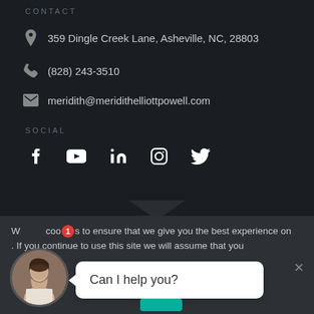CONTACT
359 Dingle Creek Lane, Asheville, NC, 28803
(828) 243-3510
meridith@meridithelliottpowell.com
SOCIAL
[Figure (infographic): Social media icons: Facebook, YouTube, LinkedIn, Instagram, Twitter]
[Figure (screenshot): Cookie consent bar with red badge showing '1', text: 'We use cookies to ensure that we give you the best experience on our site. If you continue to use this site we will assume that you are happy with it.' with a 'Can I help you?' chat bubble and female avatar photo.]
We use coo 1 s to ensure that we give you the best experience on . If you continue to use this site we will assume that you
Can I help you?